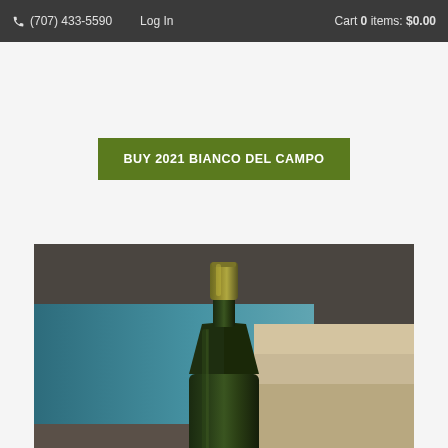(707) 433-5590   Log In   Cart 0 items: $0.00
BUY 2021 BIANCO DEL CAMPO
[Figure (photo): A wine bottle with a gold/green capsule neck, placed in front of a blurred swimming pool background with blue water and a light-colored ledge/coping. The bottle is dark green glass and appears to be a white wine.]